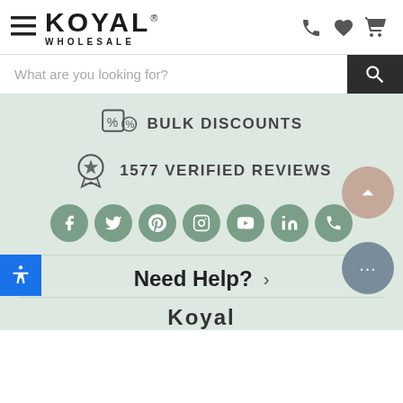[Figure (screenshot): Koyal Wholesale website header with hamburger menu, logo, and icons for phone, wishlist, and cart]
[Figure (screenshot): Search bar with placeholder 'What are you looking for?' and dark search button]
BULK DISCOUNTS
1577 VERIFIED REVIEWS
[Figure (infographic): Social media icons row: Facebook, Twitter, Pinterest, Instagram, YouTube, LinkedIn, Phone]
Need Help?
Koyal